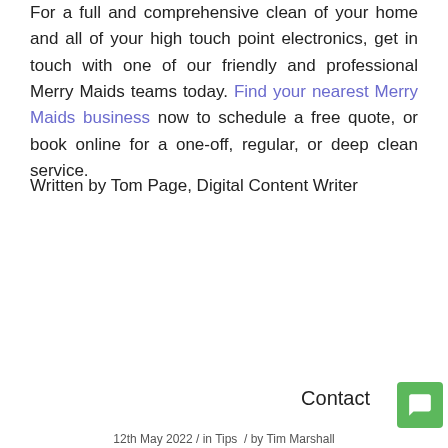For a full and comprehensive clean of your home and all of your high touch point electronics, get in touch with one of our friendly and professional Merry Maids teams today. Find your nearest Merry Maids business now to schedule a free quote, or book online for a one-off, regular, or deep clean service.
Written by Tom Page, Digital Content Writer
[Figure (screenshot): Cookie consent overlay on a dark background with text 'This site uses cookies. By continuing to browse the site, you are agreeing to our use of cookies.' with ACCEPT ALL and LEARN MORE buttons. A Contact button and green chat icon are visible in the bottom right. Behind the overlay, large grey text reads 'Home organisation solutions unique' partially visible.]
12th May 2022 / in Tips / by Tim Marshall